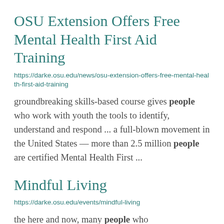OSU Extension Offers Free Mental Health First Aid Training
https://darke.osu.edu/news/osu-extension-offers-free-mental-health-first-aid-training
groundbreaking skills-based course gives people who work with youth the tools to identify, understand and respond ... a full-blown movement in the United States — more than 2.5 million people are certified Mental Health First ...
Mindful Living
https://darke.osu.edu/events/mindful-living
the here and now, many people who